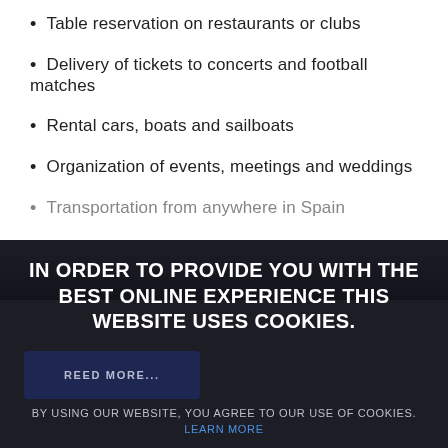Table reservation on restaurants or clubs
Delivery of tickets to concerts and football matches
Rental cars, boats and sailboats
Organization of events, meetings and weddings
Transportation from anywhere in Spain
IN ORDER TO PROVIDE YOU WITH THE BEST ONLINE EXPERIENCE THIS WEBSITE USES COOKIES.
BY USING OUR WEBSITE, YOU AGREE TO OUR USE OF COOKIES. LEARN MORE
I AGREE